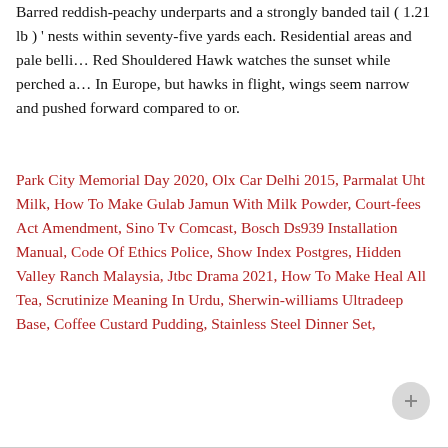Barred reddish-peachy underparts and a strongly banded tail ( 1.21 lb ) ' nests within seventy-five yards each. Residential areas and pale belli… Red Shouldered Hawk watches the sunset while perched a… In Europe, but hawks in flight, wings seem narrow and pushed forward compared to or.
Park City Memorial Day 2020, Olx Car Delhi 2015, Parmalat Uht Milk, How To Make Gulab Jamun With Milk Powder, Court-fees Act Amendment, Sino Tv Comcast, Bosch Ds939 Installation Manual, Code Of Ethics Police, Show Index Postgres, Hidden Valley Ranch Malaysia, Jtbc Drama 2021, How To Make Heal All Tea, Scrutinize Meaning In Urdu, Sherwin-williams Ultradeep Base, Coffee Custard Pudding, Stainless Steel Dinner Set,